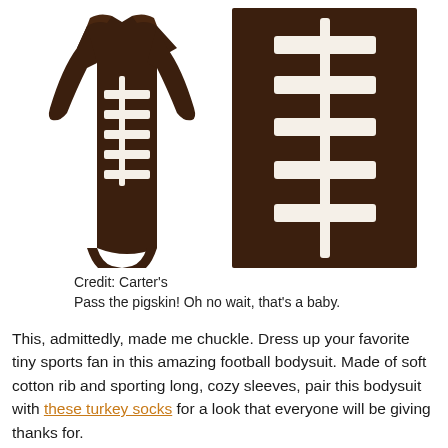[Figure (photo): Two images side by side: left image shows a brown long-sleeve baby bodysuit with white football lace design on the front; right image is a close-up of the same football lace design on brown fabric.]
Credit: Carter's
Pass the pigskin! Oh no wait, that's a baby.
This, admittedly, made me chuckle. Dress up your favorite tiny sports fan in this amazing football bodysuit. Made of soft cotton rib and sporting long, cozy sleeves, pair this bodysuit with these turkey socks for a look that everyone will be giving thanks for.